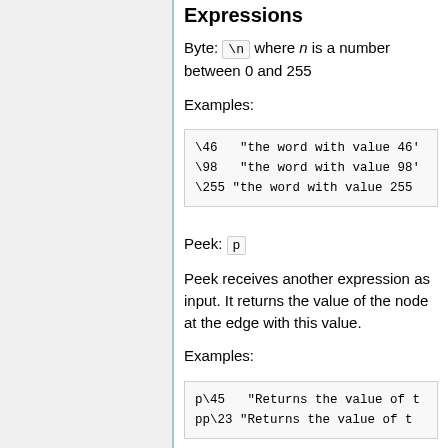Expressions
Byte: \n where n is a number between 0 and 255
Examples:
\46  "the word with value 46"
\98  "the word with value 98"
\255 "the word with value 255"
Peek: p
Peek receives another expression as input. It returns the value of the node at the edge with this value.
Examples:
p\45  "Returns the value of ..."
pp\23 "Returns the value of ..."